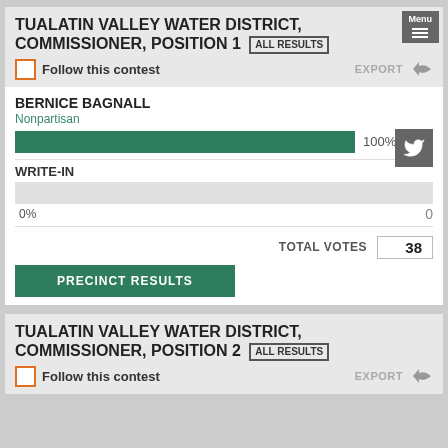TUALATIN VALLEY WATER DISTRICT, COMMISSIONER, POSITION 1
ALL RESULTS
Follow this contest
EXPORT
BERNICE BAGNALL
Nonpartisan
[Figure (bar-chart): Bernice Bagnall votes]
100%	38
WRITE-IN
0%	0
TOTAL VOTES	38
PRECINCT RESULTS
TUALATIN VALLEY WATER DISTRICT, COMMISSIONER, POSITION 2
ALL RESULTS
Follow this contest
EXPORT